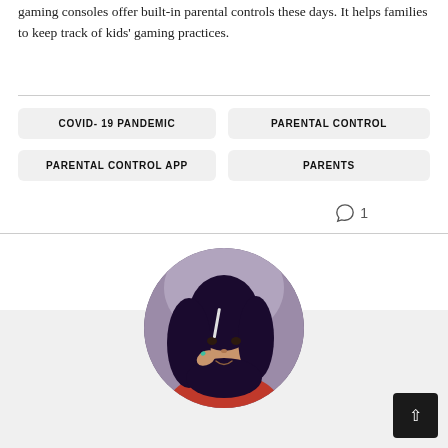gaming consoles offer built-in parental controls these days. It helps families to keep track of kids' gaming practices.
COVID- 19 PANDEMIC
PARENTAL CONTROL
PARENTAL CONTROL APP
PARENTS
1
[Figure (photo): Circular profile photo of a young woman with long dark hair, wearing a red top, looking at the camera with a slight smile.]